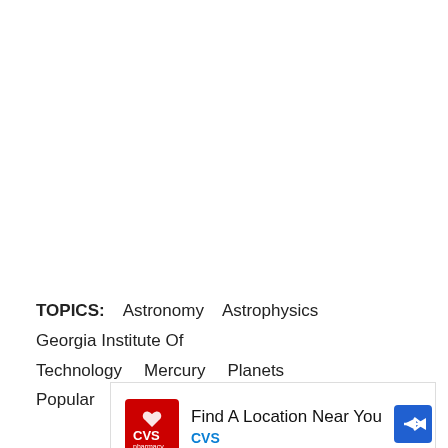TOPICS: Astronomy Astrophysics Georgia Institute Of Technology Mercury Planets Popular
[Figure (other): CVS Pharmacy advertisement banner: 'Find A Location Near You' with CVS logo and navigation arrow icon]